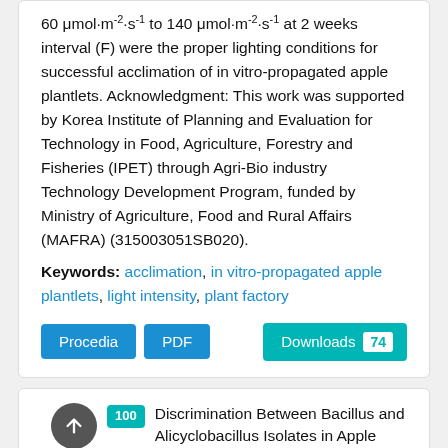60 μmol·m⁻²·s⁻¹ to 140 μmol·m⁻²·s⁻¹ at 2 weeks interval (F) were the proper lighting conditions for successful acclimation of in vitro-propagated apple plantlets. Acknowledgment: This work was supported by Korea Institute of Planning and Evaluation for Technology in Food, Agriculture, Forestry and Fisheries (IPET) through Agri-Bio industry Technology Development Program, funded by Ministry of Agriculture, Food and Rural Affairs (MAFRA) (315003051SB020).
Keywords: acclimation, in vitro-propagated apple plantlets, light intensity, plant factory
Procedia | PDF | Downloads 74
100 Discrimination Between Bacillus and Alicyclobacillus Isolates in Apple Juice by Fourier Transform Infrared Spectroscopy and Multivariate